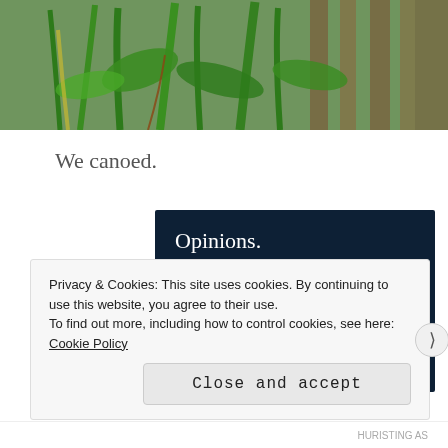[Figure (photo): Close-up photograph of green plants and grass leaves in front of a wooden fence or structure, outdoor nature scene.]
We canoed.
[Figure (infographic): Advertisement with dark navy background. Text reads: 'Opinions. We all have them!' with a pink 'Start a survey' button and a circular CrowdSignal logo on the right.]
Privacy & Cookies: This site uses cookies. By continuing to use this website, you agree to their use.
To find out more, including how to control cookies, see here: Cookie Policy
Close and accept